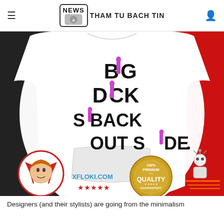NEWS THAM TU BACH TIN
[Figure (photo): Screenshot of a product listing page showing a white hoodie with text 'BIG DICK IS BACK OUT SIDE' printed on it with decorative icons replacing some letters. The image includes the website xfloki.com, star ratings, a 100% Premium Quality Guaranteed badge, a brand logo circle, and a robot/figure logo on the right. Background is split black and red.]
Designers (and their stylists) are going from the minimalism